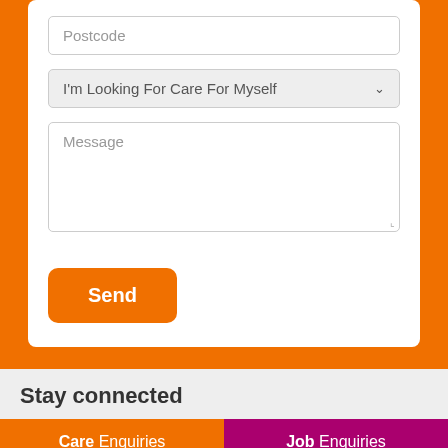[Figure (screenshot): Web form section with orange background containing a white card with Postcode input field, a dropdown selector showing 'I'm Looking For Care For Myself', a Message textarea, and an orange Send button]
Stay connected
Care Enquiries
0330 0535014
Job Enquiries
01245 860464